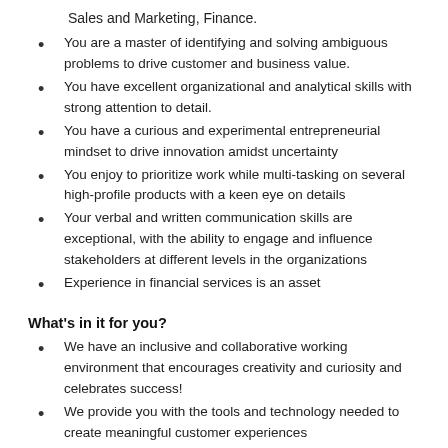Sales and Marketing, Finance.
You are a master of identifying and solving ambiguous problems to drive customer and business value.
You have excellent organizational and analytical skills with strong attention to detail.
You have a curious and experimental entrepreneurial mindset to drive innovation amidst uncertainty
You enjoy to prioritize work while multi-tasking on several high-profile products with a keen eye on details
Your verbal and written communication skills are exceptional, with the ability to engage and influence stakeholders at different levels in the organizations
Experience in financial services is an asset
What's in it for you?
We have an inclusive and collaborative working environment that encourages creativity and curiosity and celebrates success!
We provide you with the tools and technology needed to create meaningful customer experiences